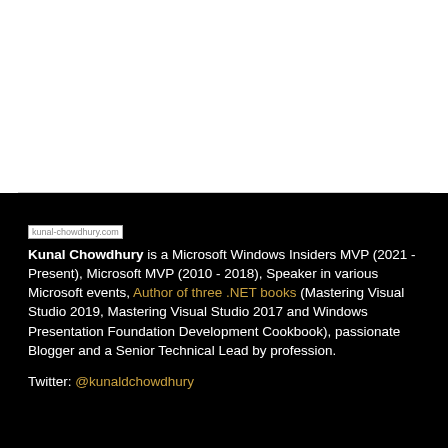[Figure (other): Broken image placeholder labeled kunal-chowdhury.com]
Kunal Chowdhury is a Microsoft Windows Insiders MVP (2021 - Present), Microsoft MVP (2010 - 2018), Speaker in various Microsoft events, Author of three .NET books (Mastering Visual Studio 2019, Mastering Visual Studio 2017 and Windows Presentation Foundation Development Cookbook), passionate Blogger and a Senior Technical Lead by profession.
Twitter: @kunaldchowdhury